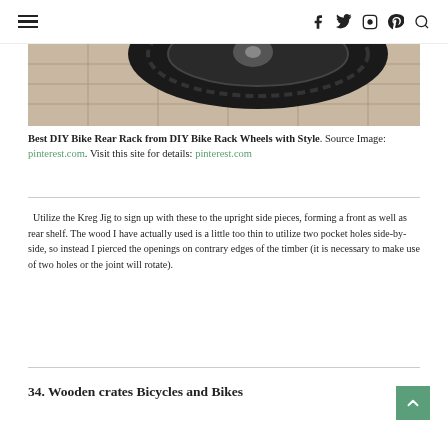☰ | f | twitter | instagram | pinterest | search
[Figure (photo): Close-up of a mountain bike tire/wheel on a tiled floor, partially cropped from above]
Best DIY Bike Rear Rack from DIY Bike Rack Wheels with Style. Source Image: pinterest.com. Visit this site for details: pinterest.com
Utilize the Kreg Jig to sign up with these to the upright side pieces, forming a front as well as rear shelf. The wood I have actually used is a little too thin to utilize two pocket holes side-by-side, so instead I pierced the openings on contrary edges of the timber (it is necessary to make use of two holes or the joint will rotate).
34. Wooden crates Bicycles and Bikes